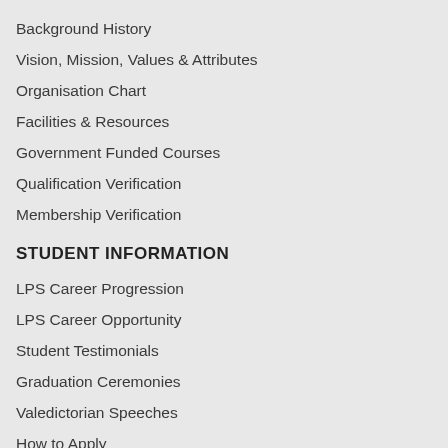Background History
Vision, Mission, Values & Attributes
Organisation Chart
Facilities & Resources
Government Funded Courses
Qualification Verification
Membership Verification
STUDENT INFORMATION
LPS Career Progression
LPS Career Opportunity
Student Testimonials
Graduation Ceremonies
Valedictorian Speeches
How to Apply